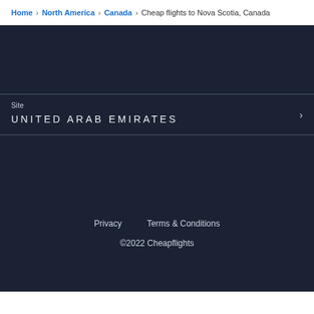Home > North America > Canada > Cheap flights to Nova Scotia, Canada
Site
UNITED ARAB EMIRATES
Privacy   Terms & Conditions
©2022 Cheapflights